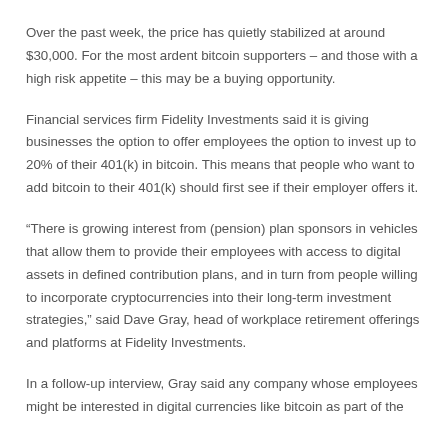Over the past week, the price has quietly stabilized at around $30,000. For the most ardent bitcoin supporters – and those with a high risk appetite – this may be a buying opportunity.
Financial services firm Fidelity Investments said it is giving businesses the option to offer employees the option to invest up to 20% of their 401(k) in bitcoin. This means that people who want to add bitcoin to their 401(k) should first see if their employer offers it.
“There is growing interest from (pension) plan sponsors in vehicles that allow them to provide their employees with access to digital assets in defined contribution plans, and in turn from people willing to incorporate cryptocurrencies into their long-term investment strategies,” said Dave Gray, head of workplace retirement offerings and platforms at Fidelity Investments.
In a follow-up interview, Gray said any company whose employees might be interested in digital currencies like bitcoin as part of the